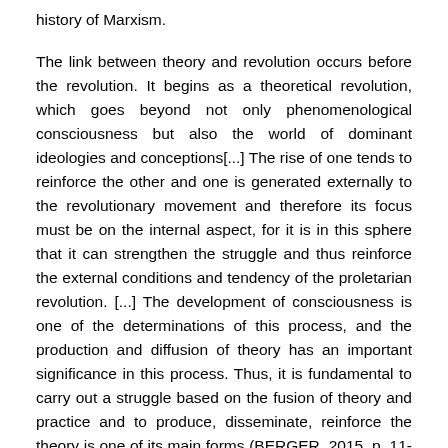history of Marxism.
The link between theory and revolution occurs before the revolution. It begins as a theoretical revolution, which goes beyond not only phenomenological consciousness but also the world of dominant ideologies and conceptions[...] The rise of one tends to reinforce the other and one is generated externally to the revolutionary movement and therefore its focus must be on the internal aspect, for it is in this sphere that it can strengthen the struggle and thus reinforce the external conditions and tendency of the proletarian revolution. [...] The development of consciousness is one of the determinations of this process, and the production and diffusion of theory has an important significance in this process. Thus, it is fundamental to carry out a struggle based on the fusion of theory and practice and to produce, disseminate, reinforce the theory is one of its main forms (BERGER, 2015, p. 11-12).
Marxism, self-management, therefore, fulfills its historical